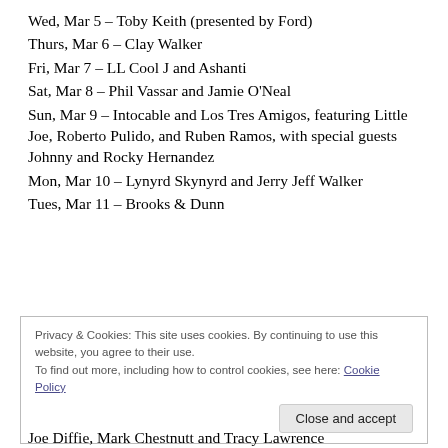Wed, Mar 5 – Toby Keith (presented by Ford)
Thurs, Mar 6 – Clay Walker
Fri, Mar 7 – LL Cool J and Ashanti
Sat, Mar 8 – Phil Vassar and Jamie O'Neal
Sun, Mar 9 – Intocable and Los Tres Amigos, featuring Little Joe, Roberto Pulido, and Ruben Ramos, with special guests Johnny and Rocky Hernandez
Mon, Mar 10 – Lynyrd Skynyrd and Jerry Jeff Walker
Tues, Mar 11 – Brooks & Dunn
Privacy & Cookies: This site uses cookies. By continuing to use this website, you agree to their use.
To find out more, including how to control cookies, see here: Cookie Policy
Close and accept
Joe Diffie, Mark Chestnutt and Tracy Lawrence